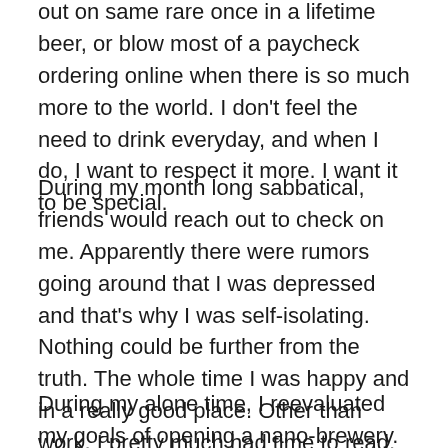out on same rare once in a lifetime beer, or blow most of a paycheck ordering online when there is so much more to the world. I don't feel the need to drink everyday, and when I do, I want to respect it more. I want it to be special.
During my month long sabbatical, friends would reach out to check on me. Apparently there were rumors going around that I was depressed and that's why I was self-isolating. Nothing could be further from the truth. The whole time I was happy and in a really good place. Other than work, I pretty much had time to read, meditate and yes, I even solo brewed a batch of Imperial Stout on the down low.
During my alone time, I reevaluated my goals of opening a nano-brewery. This unrealistic dream of mine took up a lot of my time and energy. I found myself thinking about it to